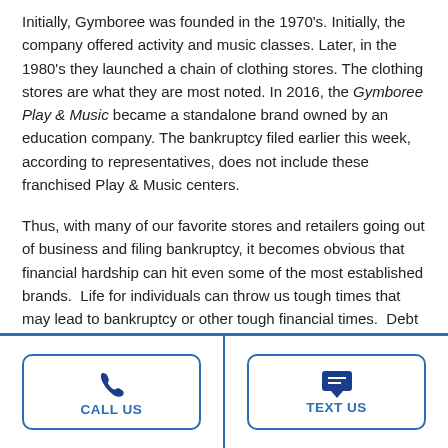Initially, Gymboree was founded in the 1970's. Initially, the company offered activity and music classes. Later, in the 1980's they launched a chain of clothing stores. The clothing stores are what they are most noted. In 2016, the Gymboree Play & Music became a standalone brand owned by an education company. The bankruptcy filed earlier this week, according to representatives, does not include these franchised Play & Music centers.
Thus, with many of our favorite stores and retailers going out of business and filing bankruptcy, it becomes obvious that financial hardship can hit even some of the most established brands. Life for individuals can throw us tough times that may lead to bankruptcy or other tough financial times. Debt relief and a fresh start is only a call away. Contact an Arizona debt relief lawyer and find out the many options available to you.
Additional Blog Postings at:
[Figure (other): Call Us and Text Us buttons at the bottom of the page with phone and message icons]